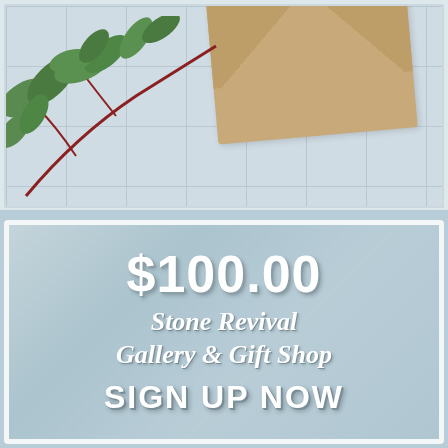[Figure (photo): Top section showing a white tiled background with green eucalyptus leaves/branch and a kraft paper envelope, partially cropped]
[Figure (infographic): Gift card promotional graphic on marble stone background showing $100.00 price, Stone Revival Gallery & Gift Shop name, and SIGN UP NOW call to action]